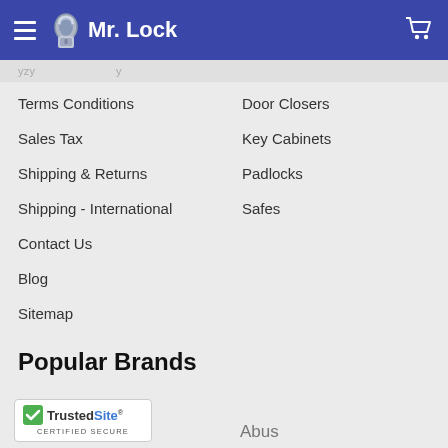Mr. Lock
Terms Conditions
Door Closers
Sales Tax
Key Cabinets
Shipping & Returns
Padlocks
Shipping - International
Safes
Contact Us
Blog
Sitemap
Popular Brands
[Figure (logo): TrustedSite Certified Secure badge]
Abus